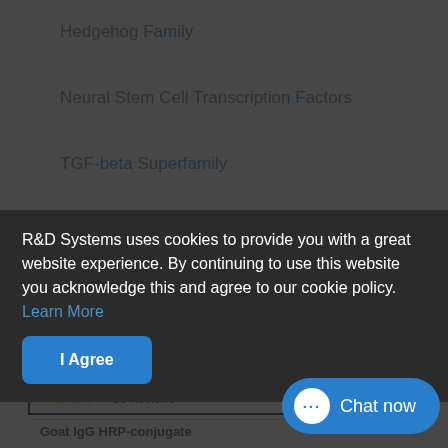Hedgehog Family
Neural Stem Cell Transcription Factors
TGF-beta Superfamily
Transcription Factors in the Akt Pathway
Distributor Information
R&D Systems uses cookies to provide you with a great website experience. By continuing to use this website you acknowledge this and agree to our cookie policy. Learn More
I Agree
Normal Goat IgG Control
★★★★☆ 18 Reviews
Goat IgG HRP-conjugate
Chat now